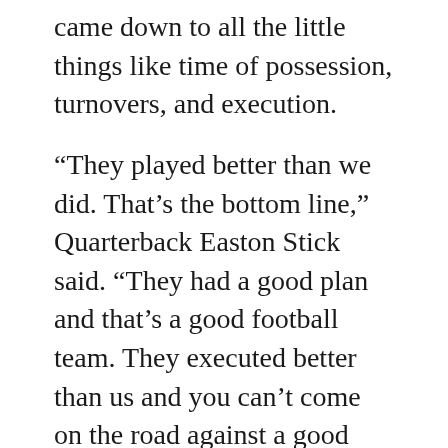came down to all the little things like time of possession, turnovers, and execution.
“They played better than we did. That’s the bottom line,” Quarterback Easton Stick said. “They had a good plan and that’s a good football team. They executed better than us and you can’t come on the road against a good team and turn the football over. It’s not a good recipe.”
NDSU head coach Chris Klieman was not thrilled about the team’s five turnover day.
“We didn’t play very well today. I give South Dakota State credit,” Klieman said. “I told the guys, I don’t question our effort. Our efforts as good as there is in college football. We didn’t execute today. We had some opportunities where